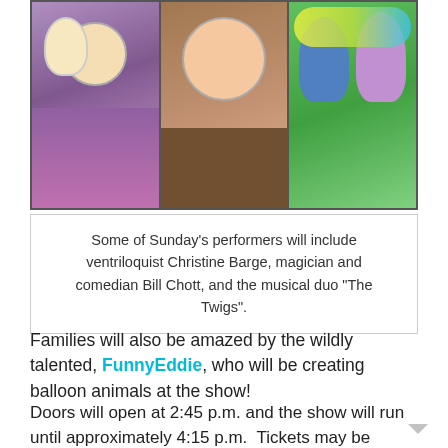[Figure (photo): Three photos side by side: left shows a ventriloquist (Christine Barge) with a puppet, center shows a man (Bill Chott) smiling, right shows two women (The Twigs) sitting in front of a colorful background.]
Some of Sunday’s performers will include ventriloquist Christine Barge, magician and comedian Bill Chott, and the musical duo “The Twigs”.
Families will also be amazed by the wildly talented, FunnyEddie, who will be creating balloon animals at the show!
Doors will open at 2:45 p.m. and the show will run until approximately 4:15 p.m.  Tickets may be purchased on the show’s website at http://www.marzos.com., as well as purchased at the door. Metered street parking is available on Melrose with 2-hr limit, free 2-hr street